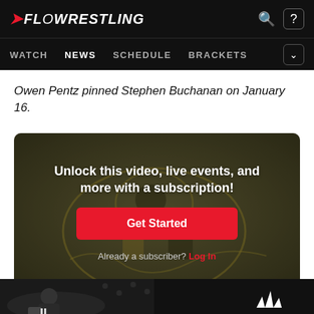FLOWRESTLING — WATCH | NEWS | SCHEDULE | BRACKETS
Owen Pentz pinned Stephen Buchanan on January 16.
[Figure (screenshot): Video player locked with overlay prompting subscription. Shows two wrestlers on a mat with a lion logo. Overlay text: 'Unlock this video, live events, and more with a subscription!' with a red 'Get Started' button and 'Already a subscriber? Log In' link.]
[Figure (photo): Footer strip showing wrestlers and Adidas logo on dark background.]